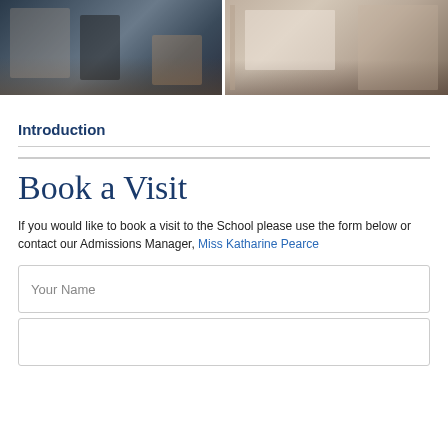[Figure (photo): Two side-by-side photos of school dormitory rooms. Left photo shows students near bunk beds with colourful belongings. Right photo shows girls in school uniform seated near beds with white linens.]
Introduction
Book a Visit
If you would like to book a visit to the School please use the form below or contact our Admissions Manager, Miss Katharine Pearce